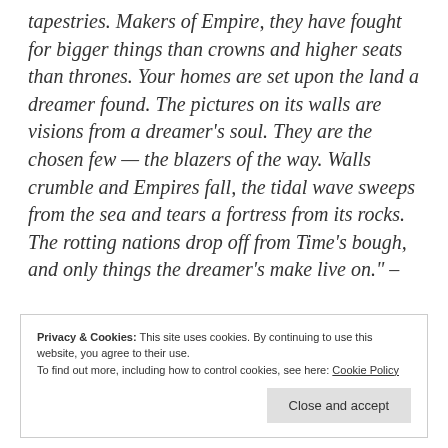tapestries. Makers of Empire, they have fought for bigger things than crowns and higher seats than thrones. Your homes are set upon the land a dreamer found. The pictures on its walls are visions from a dreamer's soul. They are the chosen few — the blazers of the way. Walls crumble and Empires fall, the tidal wave sweeps from the sea and tears a fortress from its rocks. The rotting nations drop off from Time's bough, and only things the dreamer's make live on." –
Privacy & Cookies: This site uses cookies. By continuing to use this website, you agree to their use. To find out more, including how to control cookies, see here: Cookie Policy